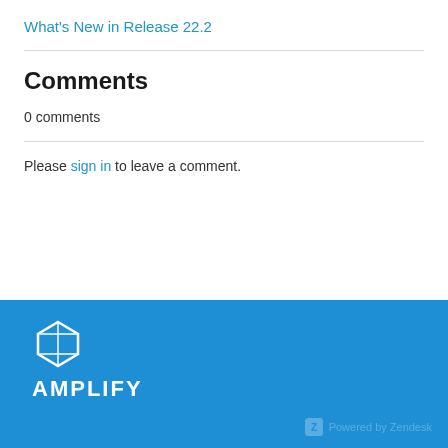What's New in Release 22.2
Comments
0 comments
Please sign in to leave a comment.
[Figure (logo): Amplify logo with cube icon and AMPLIFY text in white on blue background]
Powered by Zendesk